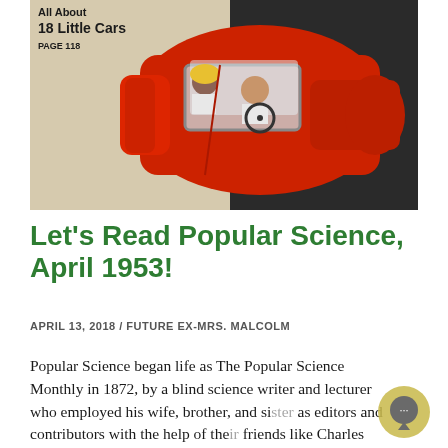[Figure (photo): Magazine cover of Popular Science April 1953 showing a red convertible car viewed from above with two people inside, text overlay reads 'All About 18 Little Cars PAGE 118']
Let’s Read Popular Science, April 1953!
APRIL 13, 2018 / FUTURE EX-MRS. MALCOLM
Popular Science began life as The Popular Science Monthly in 1872, by a blind science writer and lecturer who employed his wife, brother, and sister as editors and contributors with the help of their friends like Charles Darwin and Walt Whitman